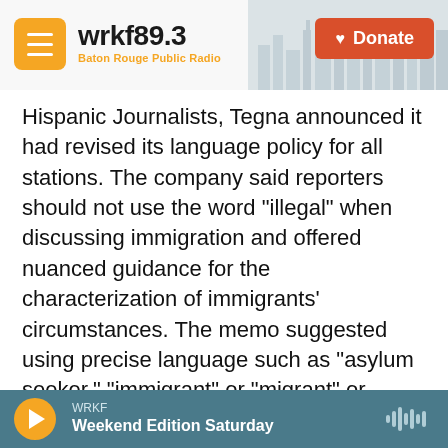wrkf89.3 Baton Rouge Public Radio | Donate
Hispanic Journalists, Tegna announced it had revised its language policy for all stations. The company said reporters should not use the word "illegal" when discussing immigration and offered nuanced guidance for the characterization of immigrants' circumstances. The memo suggested using precise language such as "asylum seeker," "immigrant" or "migrant" or "unaccompanied minor."
The question of how to characterize such matters has prompted debate in many newsrooms, including NPR, and standards have evolved over
WRKF | Weekend Edition Saturday